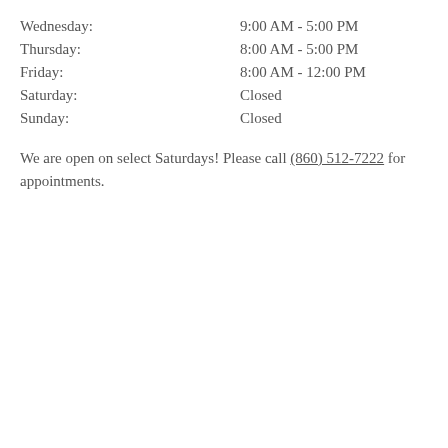Wednesday: 9:00 AM - 5:00 PM
Thursday: 8:00 AM - 5:00 PM
Friday: 8:00 AM - 12:00 PM
Saturday: Closed
Sunday: Closed
We are open on select Saturdays! Please call (860) 512-7222 for appointments.